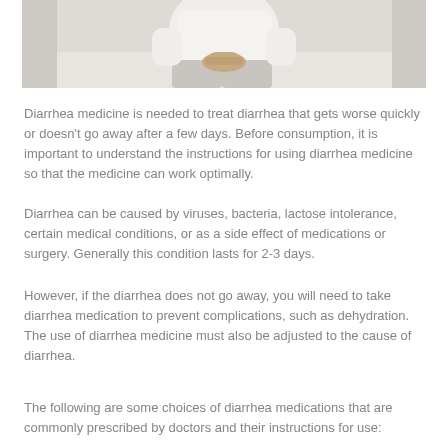[Figure (photo): A person sitting on a bed or surface, wearing white clothing, with hands clasped and resting on their lap, suggesting discomfort. Background is a light interior setting.]
Diarrhea medicine is needed to treat diarrhea that gets worse quickly or doesn't go away after a few days. Before consumption, it is important to understand the instructions for using diarrhea medicine so that the medicine can work optimally.
Diarrhea can be caused by viruses, bacteria, lactose intolerance, certain medical conditions, or as a side effect of medications or surgery. Generally this condition lasts for 2-3 days.
However, if the diarrhea does not go away, you will need to take diarrhea medication to prevent complications, such as dehydration. The use of diarrhea medicine must also be adjusted to the cause of diarrhea.
The following are some choices of diarrhea medications that are commonly prescribed by doctors and their instructions for use: